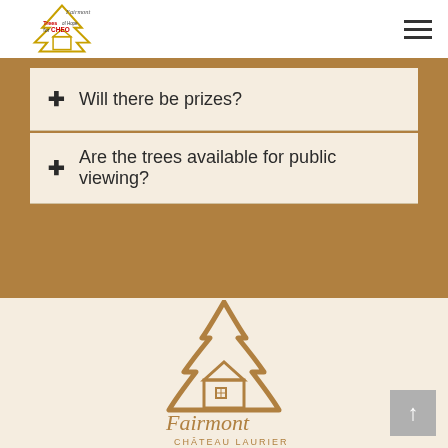[Figure (logo): Fairmont Trees of Hope for CHEO logo — a Christmas tree with a small house and the text 'Trees of Hope for CHEO']
+ Will there be prizes?
+ Are the trees available for public viewing?
[Figure (logo): Fairmont Château Laurier logo with a golden outline Christmas tree and a small house, with script text 'Fairmont Château Laurier' below]